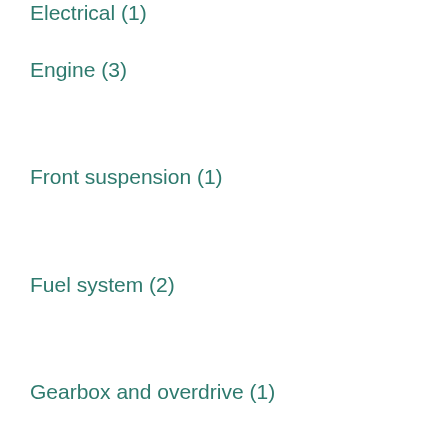Electrical (1)
Engine (3)
Front suspension (1)
Fuel system (2)
Gearbox and overdrive (1)
Heater (1)
Instruments (2)
Rear axle (3)
Rear suspension (1)
Steering (1)
Test Fit (8)